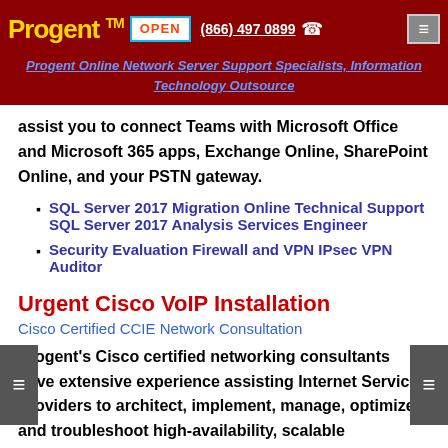Progent™ | OPEN | (866) 497 0899 | ☎ | ≡
Progent Online Network Server Support Specialists, Information Technology Outsource
assist you to connect Teams with Microsoft Office and Microsoft 365 apps, Exchange Online, SharePoint Online, and your PSTN gateway.
SQL Server 2017 Migration Online Technical Support SQL Server 2017 Analysis Services Engineer
Security Evaluation Firewall and VPN IPsec VPN Auditor
Urgent Cisco VoIP Installation
Cisco Certified CCIE Network Consultation
Progent's Cisco certified networking consultants have extensive experience assisting Internet Service Providers to architect, implement, manage, optimize, and troubleshoot high-availability, scalable connectivity solutions appropriate